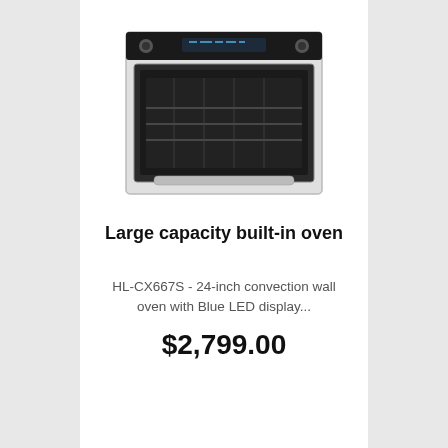[Figure (photo): A stainless steel large capacity built-in wall oven with a black glass door and blue LED control panel at the top.]
Large capacity built-in oven
HL-CX667S - 24-inch convection wall oven with Blue LED display...
$2,799.00